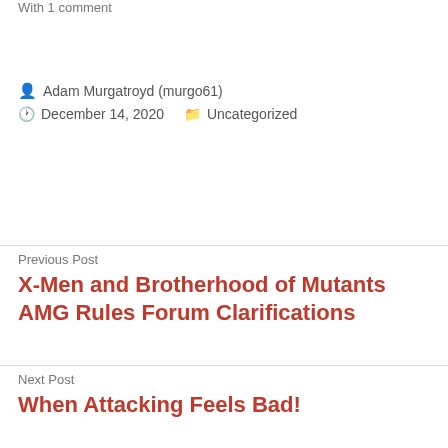With 1 comment
Adam Murgatroyd (murgo61)
December 14, 2020   Uncategorized
Previous Post
X-Men and Brotherhood of Mutants AMG Rules Forum Clarifications
Next Post
When Attacking Feels Bad!